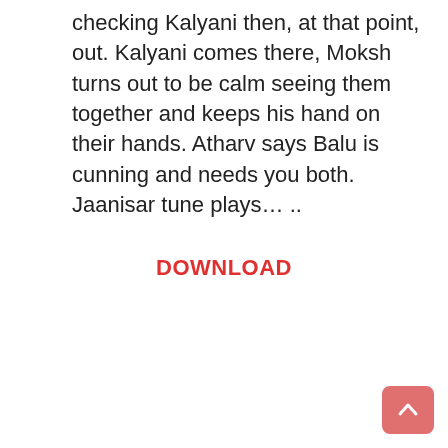checking Kalyani then, at that point, out. Kalyani comes there, Moksh turns out to be calm seeing them together and keeps his hand on their hands. Atharv says Balu is cunning and needs you both. Jaanisar tune plays... ..
DOWNLOAD